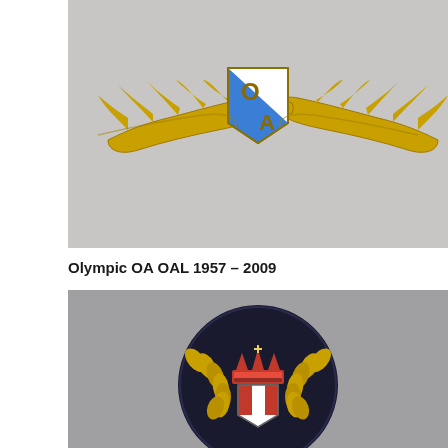[Figure (photo): Olympic Airways gold wing badge with OA shield emblem (white and blue enamel), gold wings on either side, on grey background]
Olympic OA OAL 1957 – 2009
[Figure (photo): Dark navy circular embroidered badge with gold laurel wreath, crown emblem and shield with red and white colors, airline cap badge]